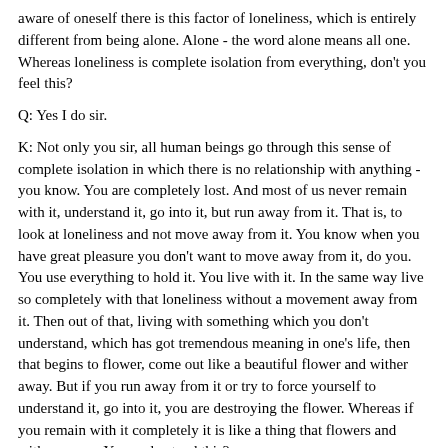aware of oneself there is this factor of loneliness, which is entirely different from being alone. Alone - the word alone means all one. Whereas loneliness is complete isolation from everything, don't you feel this?
Q: Yes I do sir.
K: Not only you sir, all human beings go through this sense of complete isolation in which there is no relationship with anything - you know. You are completely lost. And most of us never remain with it, understand it, go into it, but run away from it. That is, to look at loneliness and not move away from it. You know when you have great pleasure you don't want to move away from it, do you. You use everything to hold it. You live with it. In the same way live so completely with that loneliness without a movement away from it. Then out of that, living with something which you don't understand, which has got tremendous meaning in one's life, then that begins to flower, come out like a beautiful flower and wither away. But if you run away from it or try to force yourself to understand it, go into it, you are destroying the flower. Whereas if you remain with it completely it is like a thing that flowers and withers away. You understand this?
Q: No I don't. All I can see is: why is my life a mess? It is a mess because I don't want to marry.